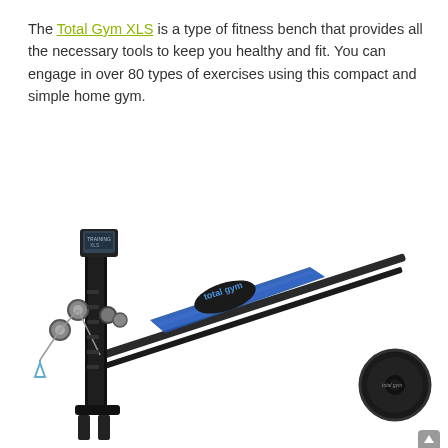The Total Gym XLS is a type of fitness bench that provides all the necessary tools to keep you healthy and fit. You can engage in over 80 types of exercises using this compact and simple home gym.
[Figure (photo): Photo of a Total Gym XLS fitness bench/home gym machine, showing the inclined sliding bench with a blue padded surface, vertical tower with pulleys and cables, wing attachments, and a weight plate at the far right. The Total Gym logo is visible on the machine.]